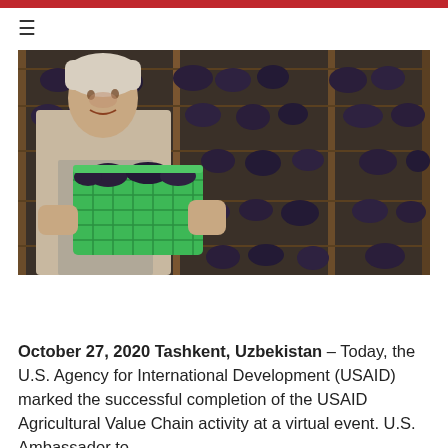≡
[Figure (photo): A woman holding a green plastic crate filled with dark grapes, standing in front of drying racks with bunches of dark grapes hanging to dry.]
October 27, 2020 Tashkent, Uzbekistan – Today, the U.S. Agency for International Development (USAID) marked the successful completion of the USAID Agricultural Value Chain activity at a virtual event. U.S. Ambassador to